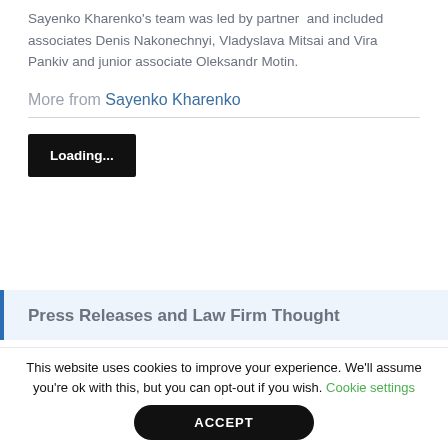Sayenko Kharenko's team was led by partner and included associates Denis Nakonechnyi, Vladyslava Mitsai and Vira Pankiv and junior associate Oleksandr Motin.
More from Sayenko Kharenko
[Figure (screenshot): Black loading button with white bold text 'Loading...']
Press Releases and Law Firm Thought
This website uses cookies to improve your experience. We'll assume you're ok with this, but you can opt-out if you wish. Cookie settings
ACCEPT